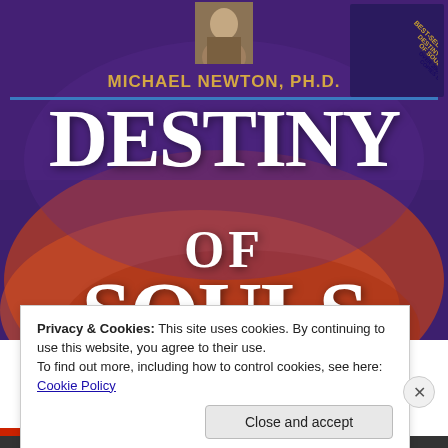[Figure (illustration): Book cover of 'Destiny of Souls' by Michael Newton, Ph.D. Purple and orange/red gradient background with large white serif title text. Author photo at top center. Banner in upper right corner reading 'BEST-SELLING DESTINY OF SOULS OVER 200,000 COPIES SOLD'.]
Privacy & Cookies: This site uses cookies. By continuing to use this website, you agree to their use.
To find out more, including how to control cookies, see here: Cookie Policy